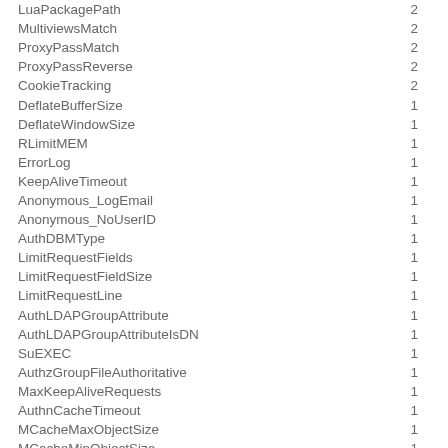| Directive | Count |
| --- | --- |
| LuaPackagePath | 2 |
| MultiviewsMatch | 2 |
| ProxyPassMatch | 2 |
| ProxyPassReverse | 2 |
| CookieTracking | 2 |
| DeflateBufferSize | 1 |
| DeflateWindowSize | 1 |
| RLimitMEM | 1 |
| ErrorLog | 1 |
| KeepAliveTimeout | 1 |
| Anonymous_LogEmail | 1 |
| Anonymous_NoUserID | 1 |
| AuthDBMType | 1 |
| LimitRequestFields | 1 |
| LimitRequestFieldSize | 1 |
| LimitRequestLine | 1 |
| AuthLDAPGroupAttribute | 1 |
| AuthLDAPGroupAttributeIsDN | 1 |
| SuEXEC | 1 |
| AuthzGroupFileAuthoritative | 1 |
| MaxKeepAliveRequests | 1 |
| AuthnCacheTimeout | 1 |
| MCacheMaxObjectSize | 1 |
| MCacheMinObjectSize | 1 |
| MCacheMaxObjectCount | 1 |